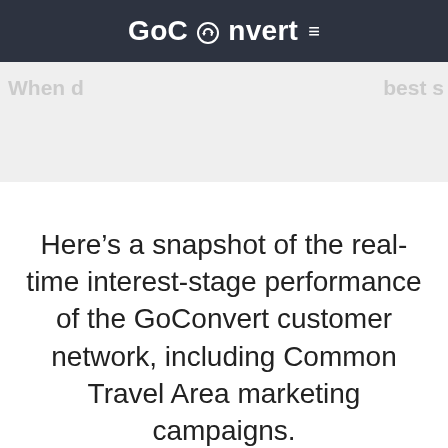GoConvert ≡
[Figure (screenshot): Gray hero banner area with faint background text]
Here's a snapshot of the real-time interest-stage performance of the GoConvert customer network, including Common Travel Area marketing campaigns.